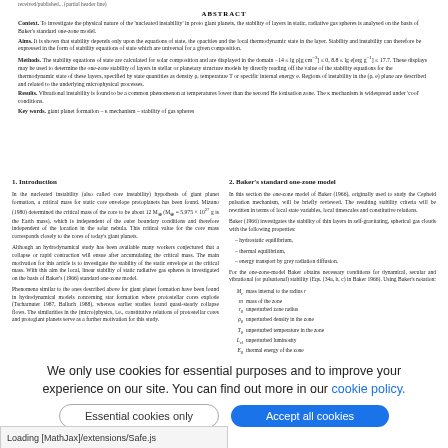...received/published... (partial top line)
ABSTRACT
Context. To investigate the physical nature of the 'nucleated instability' in proto giant planets, the stability of layers in static, radiative gas spheres is analysed on the basis of Baker's standard one-zone model. Aims. It is shown that stability depends only upon the equations of state, the opacities and the local thermodynamic state in the layer. Stability and instability can therefore be expressed in the form of stability equations of state which are universal for a given composition. Methods. The stability equations of state are calculated for solar composition and are displayed in the domain −14 ≤ lg ρ[g cm−3] ≤ 0, 8.8 ≤ lg e[erg g−1] ≤ 17.7. These displays may be used to determine the one-zone stability of layers in stellar or planetary structure models by directly reading off the value of the stability equations for the thermodynamic state of these layers, specified by state quantities as density ρ, temperature T or specific internal energy e. Regions of instability in the (ρ, e) plane are described and related to the underlying microphysical processes. Results. Vibrational instability is found to be a common phenomenon at temperatures lower than the second He ionisation zone. The κ mechanism is widespread under 'cool' conditions.
Key words: giant planet formation – κ mechanism – stability of gas spheres
1. Introduction
In the nucleated instability (also called core instability) hypothesis of giant planet formation, a critical mass for static core envelope protoplanets has been found. Mizuno (1980) determined the critical mass of the core to be about 12 M⊕ (M⊕ = 5.975 × 10²⁷ g is the Earth mass), which is independent of the outer boundary conditions and therefore independent of the location in the solar nebula. This critical value for the core mass corresponds closely to the cores of today's giant planets.
Although an hydrodynamical study has been available many workers conjectured that a collapse or rapid contraction will ensue after accumulating the critical mass. The main motivation for this article is to investigate the stability of the static envelope at the critical mass. With this aim the local, linear stability of static radiative gas spheres is investigated on the basis of Baker's (1966) standard one-zone model.
Phenomena similar to the ones described above for giant planet formation have been found in hydrodynamical models concerning star formation where protostellar cores explode (Tscharnuter 1987, Balluch 1988), whereas earlier studies found quasi-steady collapse flows. The similarities in the (micro)physics, i.e., constitutive relations of protostellar cores and protogiant planets serve as a further motivation for this study.
2. Baker's standard one-zone model
In this section the one-zone model of Baker (1966), originally used to study the Cepheid pulsation mechanism, will be briefly reviewed. The resulting stability criteria will be rewritten in terms of local state variables, local timescales and constitutive relations.
Baker (1966) investigates the stability of thin layers in self-gravitating, spherical gas clouds with the following properties:
– hydrostatic equilibrium,
– thermal equilibrium,
– energy transport by grey radiation diffusion.
For the one-zone-model Baker obtains necessary conditions for dynamical, secular and vibrational (or pulsational) stability (Eqs. (34a, b, c) in Baker 1966). Using Baker's notation:
Mr   mass internal to the radius r
m   mass of the zone
r₀   unperturbed zone radius
ρ₀   unperturbed density in the zone
T₀   unperturbed temperature in the zone
L₀₁  unperturbed luminosity
E₀   thermal energy of the zone
and with the definitions of the local cooling time (see Fig. 1)
* Just to show the usage of the elements in the author field
** The university of heaven temporarily does not accept e-mails
We only use cookies for essential purposes and to improve your experience on our site. You can find out more in our cookie policy.
Essential cookies only   Accept all cookies
Loading [MathJax]/extensions/Safe.js